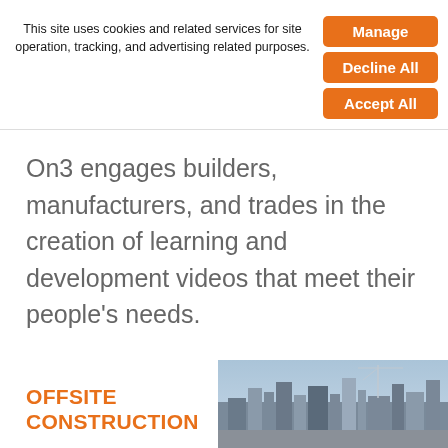This site uses cookies and related services for site operation, tracking, and advertising related purposes.
Manage
Decline All
Accept All
On3 engages builders, manufacturers, and trades in the creation of learning and development videos that meet their people's needs.
OFFSITE CONSTRUCTION
[Figure (photo): Aerial cityscape photograph showing urban buildings and a construction crane against a sky]